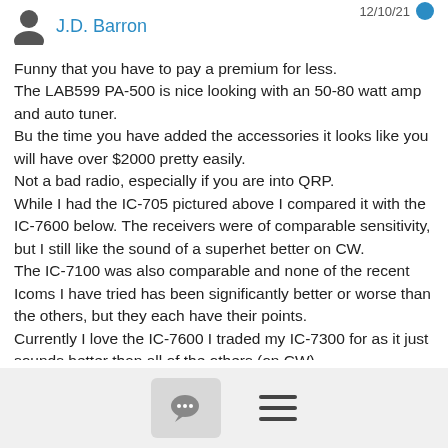J.D. Barron   12/10/21
Funny that you have to pay a premium for less.
The LAB599 PA-500 is nice looking with an 50-80 watt amp and auto tuner.
Bu the time you have added the accessories it looks like you will have over $2000 pretty easily.
Not a bad radio, especially if you are into QRP.
While I had the IC-705 pictured above I compared it with the IC-7600 below. The receivers were of comparable sensitivity, but I still like the sound of a superhet better on CW.
The IC-7100 was also comparable and none of the recent Icoms I have tried has been significantly better or worse than the others, but they each have their points.
Currently I love the IC-7600 I traded my IC-7300 for as it just sounds better than all of the others (on CW).
The other issue for me is the touch screens and the menus that an old guy has to remember. I kinda like the control on the front panel, but that takes more space and adds to the cost with more